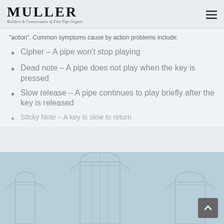MULLER — Builders & Conservators of Fine Pipe Organs
"action". Common symptoms cause by action problems include:
Cipher – A pipe won't stop playing
Dead note – A pipe does not play when the key is pressed
Slow release – A pipe continues to play briefly after the key is released
Sticky Note – A key is slow to return
[Figure (photo): Light blue-gray background with decorative architectural pipe organ facade outline/silhouette graphic in a slightly lighter tone]